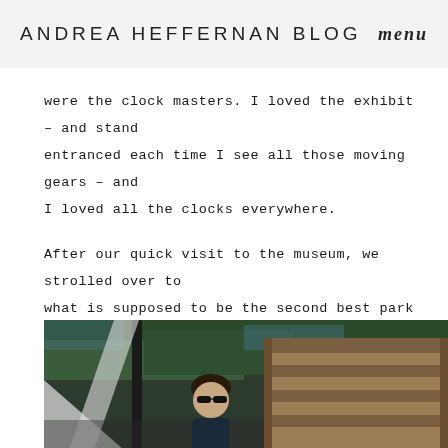ANDREA HEFFERNAN BLOG   menu
were the clock masters. I loved the exhibit – and stand entranced each time I see all those moving gears – and I loved all the clocks everywhere.
After our quick visit to the museum, we strolled over to what is supposed to be the second best park in London for little kids.
[Figure (photo): A photograph of a woman wearing sunglasses at what appears to be a children's playground park with wooden log structures and green trees in the background.]